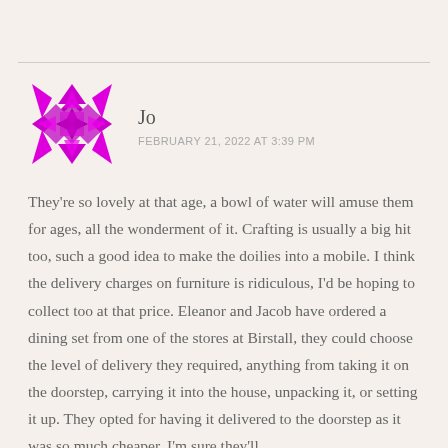[Figure (illustration): Magenta/purple geometric star/flower avatar icon made of triangles]
Jo
FEBRUARY 21, 2022 AT 3:39 PM
They're so lovely at that age, a bowl of water will amuse them for ages, all the wonderment of it. Crafting is usually a big hit too, such a good idea to make the doilies into a mobile. I think the delivery charges on furniture is ridiculous, I'd be hoping to collect too at that price. Eleanor and Jacob have ordered a dining set from one of the stores at Birstall, they could choose the level of delivery they required, anything from taking it on the doorstep, carrying it into the house, unpacking it, or setting it up. They opted for having it delivered to the doorstep as it was so much cheaper. I'm sure they'll